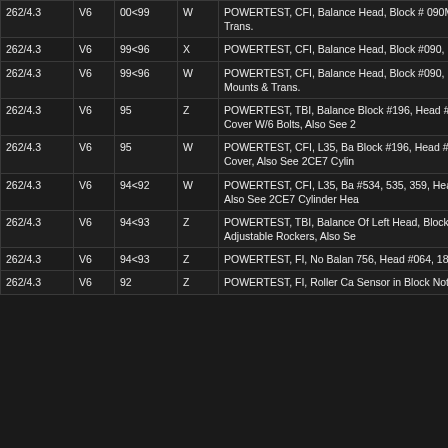|  |  |  |  |  |
| --- | --- | --- | --- | --- |
| 262/4.3 | V6 | 00<99 | W | POWERTEST, CFI, Balance Head, Block # 090M, Head # Trans. |
| 262/4.3 | V6 | 99<96 | X | POWERTEST, CFI, Balance Head, Block #090, Head #77... |
| 262/4.3 | V6 | 99<96 | W | POWERTEST, CFI, Balance Head, Block #090, Head #77... Mounts & Trans. |
| 262/4.3 | V6 | 95 | Z | POWERTEST, TBI, Balance Block #196, Head #064, 066... Cover W/6 Bolts, Also See 2... |
| 262/4.3 | V6 | 95 | W | POWERTEST, CFI, L35, Ba... Block #196, Head #064, 066... Cover, Also See 2CE7 Cylin... |
| 262/4.3 | V6 | 94<92 | W | POWERTEST, CFI, L35, Ba... #534, 535, 359, Head #064, 0... Also See 2CE7 Cylinder Hea... |
| 262/4.3 | V6 | 94<93 | Z | POWERTEST, TBI, Balance... Of Left Head, Block #196, 3... Adjustable Rockers, Also Se... |
| 262/4.3 | V6 | 94<93 | Z | POWERTEST, FI, No Balan... 756, Head #064, 181, 209, U... |
| 262/4.3 | V6 | 92 | Z | POWERTEST, FI, Roller Ca... Sensor in Block Not Head, U... |